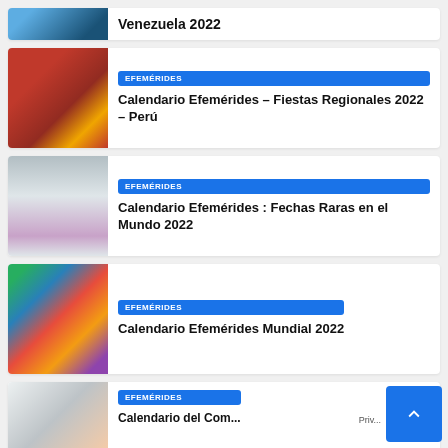[Figure (photo): Partial view of a card showing Venezuela 2022 title with a photo]
Venezuela 2022
[Figure (photo): Photo of women in colorful traditional red regional costumes, Peru]
EFEMÉRIDES
Calendario Efemérides – Fiestas Regionales 2022 – Perú
[Figure (photo): Photo of women in pink traditional costumes]
EFEMÉRIDES
Calendario Efemérides : Fechas Raras en el Mundo 2022
[Figure (photo): Colorful figures decorated with international flags]
EFEMÉRIDES
Calendario Efemérides Mundial 2022
[Figure (photo): Partial photo, hands visible, bottom card]
EFEMÉRIDES
Calendario del Comensito (partial)